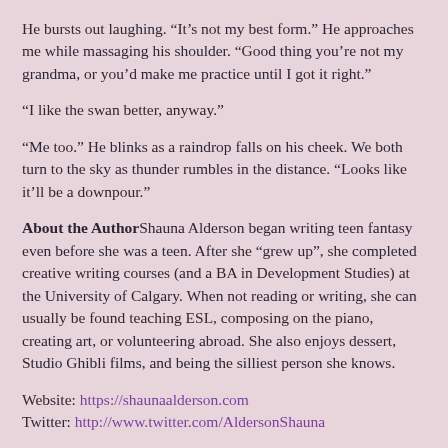He bursts out laughing. “It’s not my best form.” He approaches me while massaging his shoulder. “Good thing you’re not my grandma, or you’d make me practice until I got it right.”
“I like the swan better, anyway.”
“Me too.” He blinks as a raindrop falls on his cheek. We both turn to the sky as thunder rumbles in the distance. “Looks like it’ll be a downpour.”
About the Author Shauna Alderson began writing teen fantasy even before she was a teen. After she “grew up”, she completed creative writing courses (and a BA in Development Studies) at the University of Calgary. When not reading or writing, she can usually be found teaching ESL, composing on the piano, creating art, or volunteering abroad. She also enjoys dessert, Studio Ghibli films, and being the silliest person she knows.
Website: https://shaunaalderson.com
Twitter: http://www.twitter.com/AldersonShauna